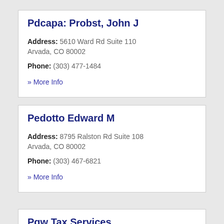Pdcapa: Probst, John J
Address: 5610 Ward Rd Suite 110
Arvada, CO 80002
Phone: (303) 477-1484
» More Info
Pedotto Edward M
Address: 8795 Ralston Rd Suite 108
Arvada, CO 80002
Phone: (303) 467-6821
» More Info
Pgw Tax Services